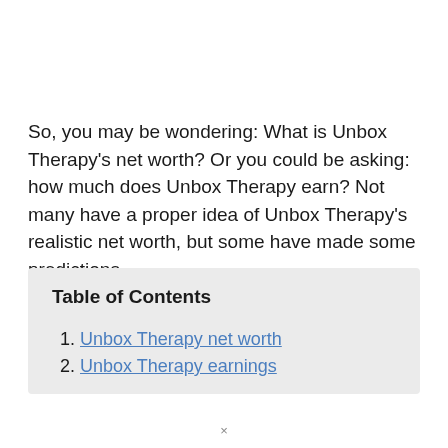So, you may be wondering: What is Unbox Therapy's net worth? Or you could be asking: how much does Unbox Therapy earn? Not many have a proper idea of Unbox Therapy's realistic net worth, but some have made some predictions.
Table of Contents
Unbox Therapy net worth
Unbox Therapy earnings